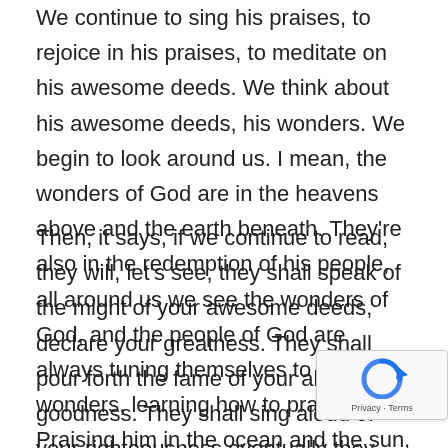We continue to sing his praises, to rejoice in his praises, to meditate on his awesome deeds. We think about his awesome deeds, his wonders. We begin to look around us. I mean, the wonders of God are in the heavens above and the earth beneath. They're also in the redemption of his people, all around us we see the wonders of God, and the people of God are always tuning themselves to his wonders, learning how to praise him. Praising him in the ocean and the sun, the stars.
Then, it says, if we continue to read, they will, let's see, they shall speak of the might of your awesome deeds, declare your greatness. They shall pour forth the fame of your abundant goodness. They shall sing aloud of your righteousness eventually they begin to speak of God's terrible deeds, is puzzling. I'm trying to see how it's translated here because